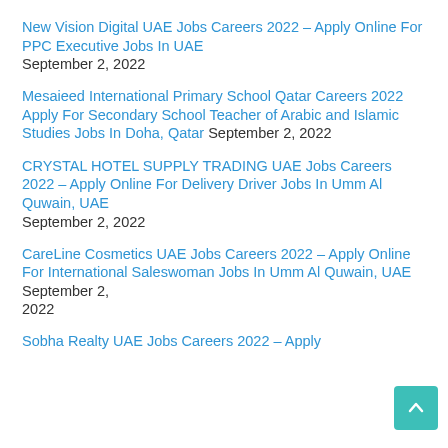New Vision Digital UAE Jobs Careers 2022 – Apply Online For PPC Executive Jobs In UAE September 2, 2022
Mesaieed International Primary School Qatar Careers 2022 Apply For Secondary School Teacher of Arabic and Islamic Studies Jobs In Doha, Qatar September 2, 2022
CRYSTAL HOTEL SUPPLY TRADING UAE Jobs Careers 2022 – Apply Online For Delivery Driver Jobs In Umm Al Quwain, UAE September 2, 2022
CareLine Cosmetics UAE Jobs Careers 2022 – Apply Online For International Saleswoman Jobs In Umm Al Quwain, UAE September 2, 2022
Sobha Realty UAE Jobs Careers 2022 – Apply